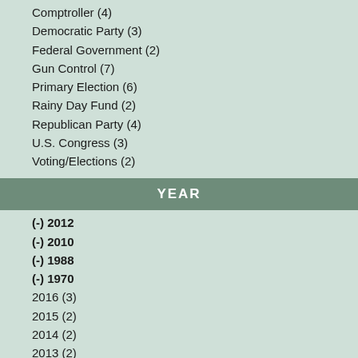Comptroller (4)
Democratic Party (3)
Federal Government (2)
Gun Control (7)
Primary Election (6)
Rainy Day Fund (2)
Republican Party (4)
U.S. Congress (3)
Voting/Elections (2)
YEAR
(-) 2012
(-) 2010
(-) 1988
(-) 1970
2016 (3)
2015 (2)
2014 (2)
2013 (2)